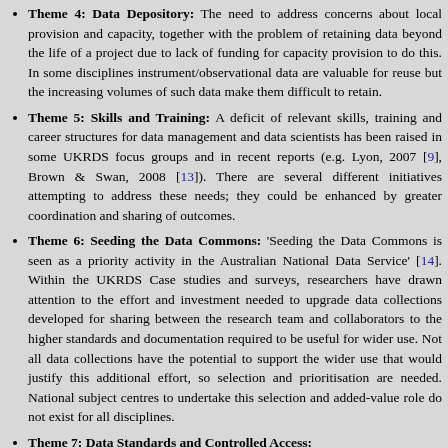Theme 4: Data Depository: The need to address concerns about local provision and capacity, together with the problem of retaining data beyond the life of a project due to lack of funding for capacity provision to do this. In some disciplines instrument/observational data are valuable for reuse but the increasing volumes of such data make them difficult to retain.
Theme 5: Skills and Training: A deficit of relevant skills, training and career structures for data management and data scientists has been raised in some UKRDS focus groups and in recent reports (e.g. Lyon, 2007 [9], Brown & Swan, 2008 [13]). There are several different initiatives attempting to address these needs; they could be enhanced by greater coordination and sharing of outcomes.
Theme 6: Seeding the Data Commons: 'Seeding the Data Commons is seen as a priority activity in the Australian National Data Service' [14]. Within the UKRDS Case studies and surveys, researchers have drawn attention to the effort and investment needed to upgrade data collections developed for sharing between the research team and collaborators to the higher standards and documentation required to be useful for wider use. Not all data collections have the potential to support the wider use that would justify this additional effort, so selection and prioritisation are needed. National subject centres to undertake this selection and added-value role do not exist for all disciplines.
Theme 7: Data Standards and Controlled Access: ...